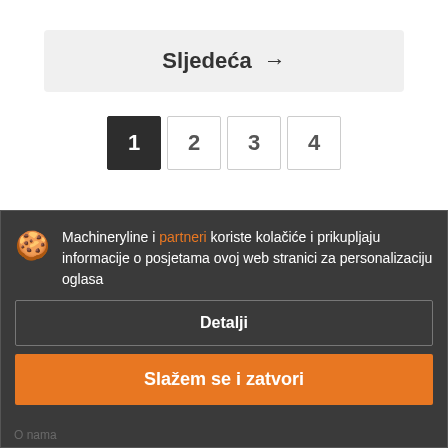Sljedeća →
1
2
3
4
Machineryline i partneri koriste kolačiće i prikupljaju informacije o posjetama ovoj web stranici za personalizaciju oglasa
Detalji
Slažem se i zatvori